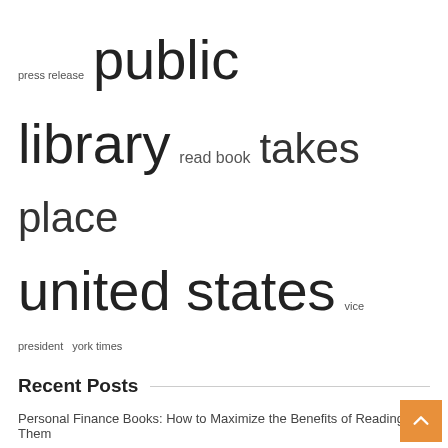press release  public library  read book  takes place  united states  vice president  york times
Recent Posts
Personal Finance Books: How to Maximize the Benefits of Reading Them
Diary | News, Sports, Jobs
Recent Match Report – Brave vs Rockets Eliminator 2022
Book Notes: Review: Christian Poetry in America since 1940
DESA Flipping Book Brings SDG Data to Life | News | SDG Knowledge Center
BOOK REVIEW: I Wanna Be Me by Dave Simpson